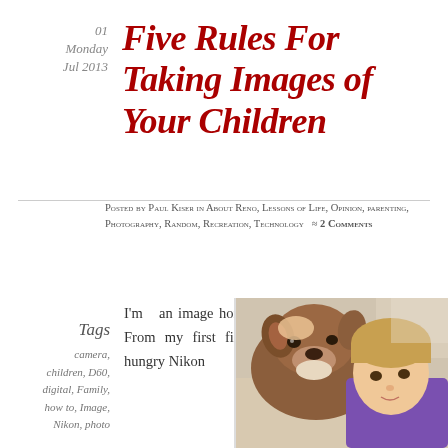01 Monday Jul 2013
Five Rules For Taking Images of Your Children
Posted by Paul Kiser in About Reno, Lessons of Life, Opinion, parenting, Photography, Random, Recreation, Technology ≈ 2 Comments
Tags
camera, children, D60, digital, Family, how to, Image, Nikon, photo
I'm an image horse. From my first film-hungry Nikon
[Figure (photo): A young child hugging a brown and white dog, both facing the camera]